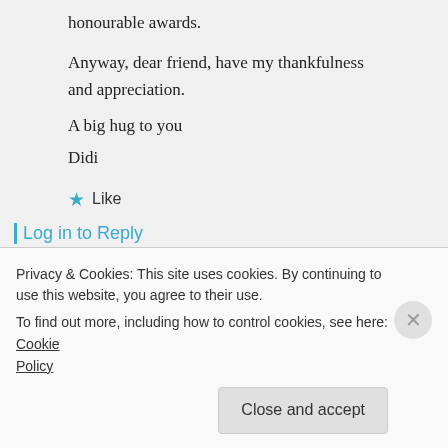honourable awards.

Anyway, dear friend, have my thankfulness and appreciation.
A big hug to you
Didi
★ Like
Log in to Reply
ilonapulianauskaite on 04/04/2019 at 19:29
Privacy & Cookies: This site uses cookies. By continuing to use this website, you agree to their use.
To find out more, including how to control cookies, see here: Cookie Policy
Close and accept